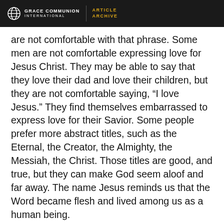GRACE COMMUNION INTERNATIONAL | ARTICLE ARCHIVE
are not comfortable with that phrase. Some men are not comfortable expressing love for Jesus Christ. They may be able to say that they love their dad and love their children, but they are not comfortable saying, “I love Jesus.” They find themselves embarrassed to express love for their Savior. Some people prefer more abstract titles, such as the Eternal, the Creator, the Almighty, the Messiah, the Christ. Those titles are good, and true, but they can make God seem aloof and far away. The name Jesus reminds us that the Word became flesh and lived among us as a human being.
Jesus Christ came to show us the Father. He